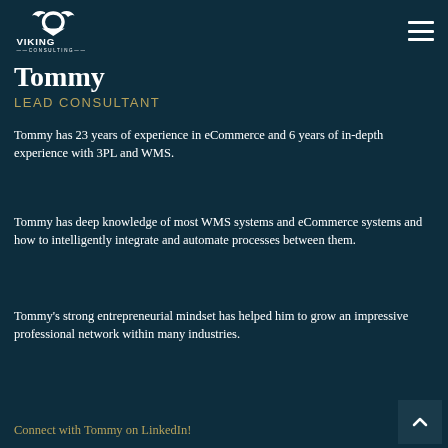Viking Consulting
Tommy
LEAD CONSULTANT
Tommy has 23 years of experience in eCommerce and 6 years of in-depth experience with 3PL and WMS.
Tommy has deep knowledge of most WMS systems and eCommerce systems and how to intelligently integrate and automate processes between them.
Tommy's strong entrepreneurial mindset has helped him to grow an impressive professional network within many industries.
Connect with Tommy on LinkedIn!